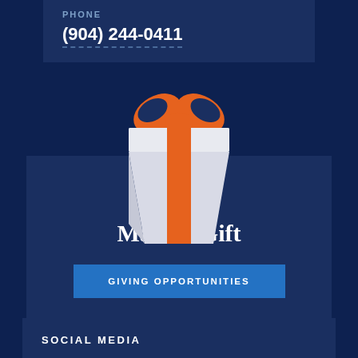PHONE
(904) 244-0411
[Figure (illustration): A white gift box with orange ribbon and bow, floating against a dark navy background]
Make a Gift
GIVING OPPORTUNITIES
SOCIAL MEDIA